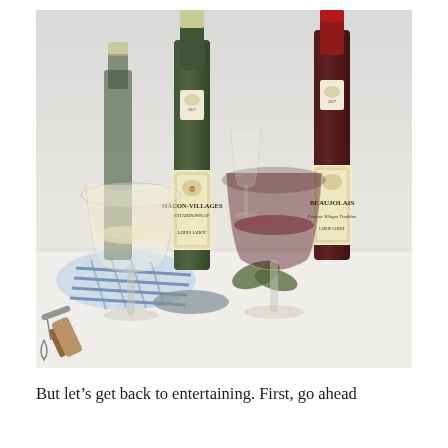[Figure (photo): A styled photograph showing two Louis Jadot wine bottles — Mâcon-Villages Chardonnay (white) and Beaujolais (red) — alongside two wine glasses (one white wine, one red wine), a blue and white striped cloth napkin, some leaves, and a corkscrew with a cork in the foreground, all arranged on a white marble surface.]
But let's get back to entertaining. First, go ahead